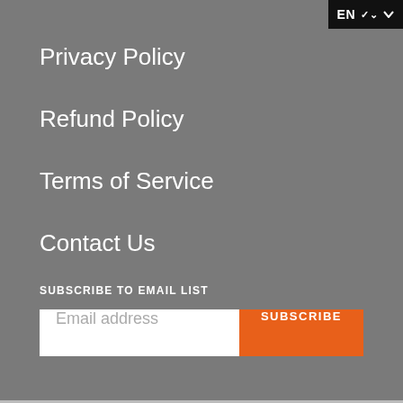EN ▾
Privacy Policy
Refund Policy
Terms of Service
Contact Us
SUBSCRIBE TO EMAIL LIST
Email address SUBSCRIBE